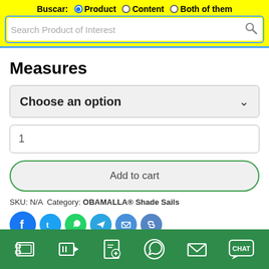Buscar: Product | Content | Both of them — Search Product of Interest
Measures
Choose an option
1
Add to cart
SKU: N/A  Category: OBAMALLA® Shade Sails
Social sharing icons: Facebook, Twitter, WhatsApp, Telegram, Email, Link
Mostrar Filtros de Productos
Bottom navigation bar icons: gallery, video, catalog, WhatsApp, email, chat